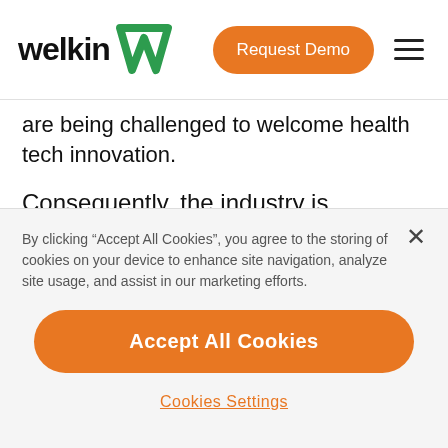[Figure (logo): Welkin logo with green W+ icon and 'welkin' wordmark in black bold text]
are being challenged to welcome health tech innovation.
Consequently, the industry is becoming ripe for further digital health changes.
By clicking “Accept All Cookies”, you agree to the storing of cookies on your device to enhance site navigation, analyze site usage, and assist in our marketing efforts.
Accept All Cookies
Cookies Settings